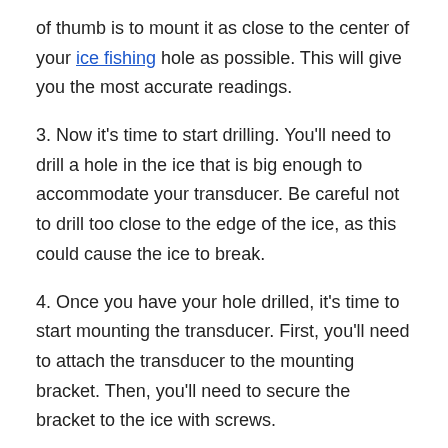of thumb is to mount it as close to the center of your ice fishing hole as possible. This will give you the most accurate readings.
3. Now it’s time to start drilling. You’ll need to drill a hole in the ice that is big enough to accommodate your transducer. Be careful not to drill too close to the edge of the ice, as this could cause the ice to break.
4. Once you have your hole drilled, it’s time to start mounting the transducer. First, you’ll need to attach the transducer to the mounting bracket. Then, you’ll need to secure the bracket to the ice with screws.
5. Once the transducer is mounted, you’ll need to